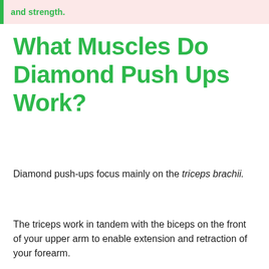and strength.
What Muscles Do Diamond Push Ups Work?
Diamond push-ups focus mainly on the triceps brachii.
The triceps work in tandem with the biceps on the front of your upper arm to enable extension and retraction of your forearm.